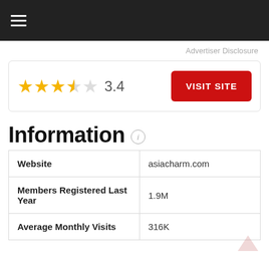☰
Advertiser Disclosure
[Figure (other): Star rating widget showing 3.4 out of 5 stars (3 full gold stars, 1 half gold star, 1 empty star) alongside a red VISIT SITE button]
Information
| Website | asiacharm.com |
| Members Registered Last Year | 1.9M |
| Average Monthly Visits | 316K |